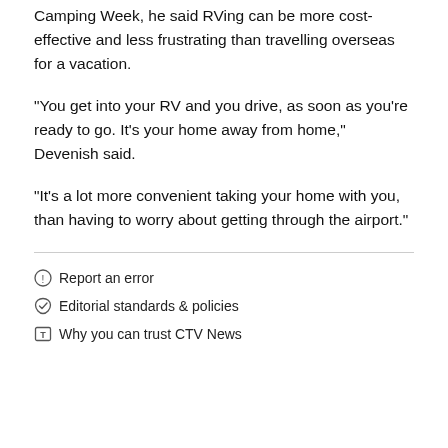Camping Week, he said RVing can be more cost-effective and less frustrating than travelling overseas for a vacation.
"You get into your RV and you drive, as soon as you're ready to go. It's your home away from home," Devenish said.
"It's a lot more convenient taking your home with you, than having to worry about getting through the airport."
Report an error
Editorial standards & policies
Why you can trust CTV News